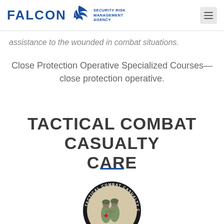FALCON Security Risk Management Agency
assistance to the wounded in combat situations.
Close Protection Operative Specialized Courses—close protection operative.
TACTICAL COMBAT CASUALTY CARE
[Figure (logo): Tactical Combat Casualty Care circular badge/seal showing two soldiers in camouflage with the text 'TACTICAL COMBAT CASUALTY CARE' around the border]